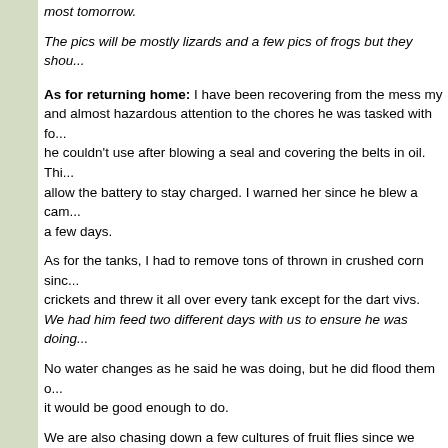Well, we got back today from Puerto Rico visiting family for ten days, most tomorrow.
The pics will be mostly lizards and a few pics of frogs but they shou...
As for returning home: I have been recovering from the mess my ... and almost hazardous attention to the chores he was tasked with fo... he couldn't use after blowing a seal and covering the belts in oil. Thi... allow the battery to stay charged. I warned her since he blew a cam... a few days.
As for the tanks, I had to remove tons of thrown in crushed corn sinc... crickets and threw it all over every tank except for the dart vivs. We had him feed two different days with us to ensure he was doing...
No water changes as he said he was doing, but he did flood them o... it would be good enough to do.
We are also chasing down a few cultures of fruit flies since we belie... down to open the vivs and let them go everywhere. Nice... I'm not to... If you have suggestions to reducing the numbers let me know. We h... the only sit on the rim and don't seem to climb in.
Our Crested Gecko also allowed me to hand feed tonight for the firs...
Its been a long day since I have been up since Saturday morning.
Tags: None
Categories: Uncategorized